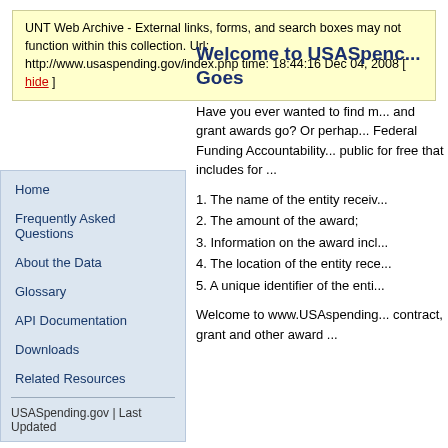UNT Web Archive - External links, forms, and search boxes may not function within this collection. Url: http://www.usaspending.gov/index.php time: 18:44:16 Dec 04, 2008 [ hide ]
Welcome to USASpending.gov Goes
Have you ever wanted to find m... and grant awards go? Or perhap... Federal Funding Accountability... public for free that includes for ...
1. The name of the entity receiv...
2. The amount of the award;
3. Information on the award incl...
4. The location of the entity rece...
5. A unique identifier of the enti...
Welcome to www.USAspending... contract, grant and other award ...
Home
Frequently Asked Questions
About the Data
Glossary
API Documentation
Downloads
Related Resources
USASpending.gov | Last Updated